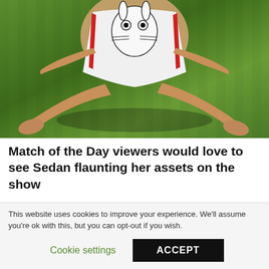[Figure (photo): A person sitting on green grass wearing a white and red swimsuit with a cartoon character print. Only the lower body and legs are visible. The photo is cropped at the top showing torso and arms.]
Match of the Day viewers would love to see Sedan flaunting her assets on the show
And she also went to a City game to cheer on her beau, enjoying a quick meeting with his boss Pep Guardiola.
This website uses cookies to improve your experience. We'll assume you're ok with this, but you can opt-out if you wish.
Cookie settings    ACCEPT